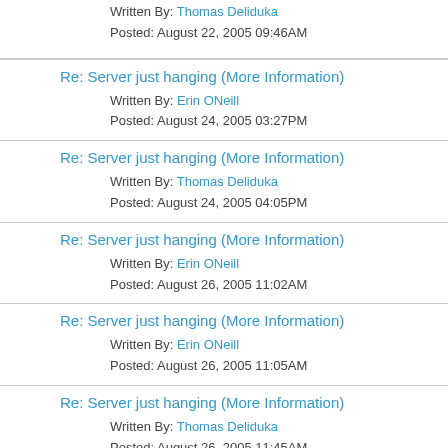Written By: Thomas Deliduka
Posted: August 22, 2005 09:46AM
Re: Server just hanging (More Information)
Written By: Erin ONeill
Posted: August 24, 2005 03:27PM
Re: Server just hanging (More Information)
Written By: Thomas Deliduka
Posted: August 24, 2005 04:05PM
Re: Server just hanging (More Information)
Written By: Erin ONeill
Posted: August 26, 2005 11:02AM
Re: Server just hanging (More Information)
Written By: Erin ONeill
Posted: August 26, 2005 11:05AM
Re: Server just hanging (More Information)
Written By: Thomas Deliduka
Posted: August 26, 2005 11:45AM